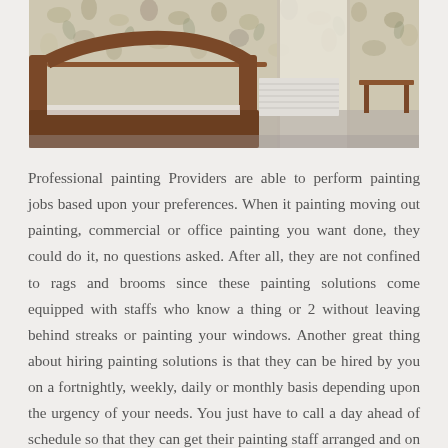[Figure (photo): Interior bedroom photo showing floral wallpaper, a wooden sleigh bed, a radiator against the wall, a doorway, and a small wooden side table. The room has grey flooring.]
Professional painting Providers are able to perform painting jobs based upon your preferences. When it painting moving out painting, commercial or office painting you want done, they could do it, no questions asked. After all, they are not confined to rags and brooms since these painting solutions come equipped with staffs who know a thing or 2 without leaving behind streaks or painting your windows. Another great thing about hiring painting solutions is that they can be hired by you on a fortnightly, weekly, daily or monthly basis depending upon the urgency of your needs. You just have to call a day ahead of schedule so that they can get their painting staff arranged and on top of that, they also include insurance so that nothing in your house gets broken or lost and if